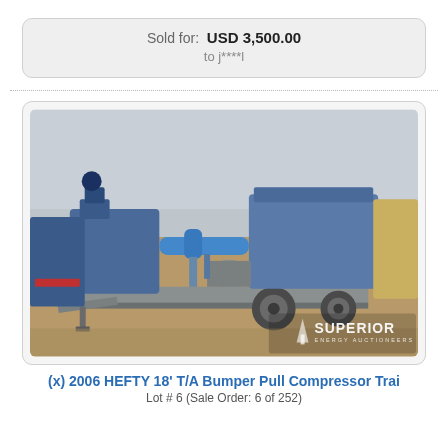Sold for: USD 3,500.00
to j****l
[Figure (photo): 2006 HEFTY 18' T/A Bumper Pull Compressor Trailer on dirt lot with industrial machinery, blue compressor unit visible. Superior Energy Auctioneers watermark in bottom right.]
(x) 2006 HEFTY 18' T/A Bumper Pull Compressor Trai
Lot # 6 (Sale Order: 6 of 252)